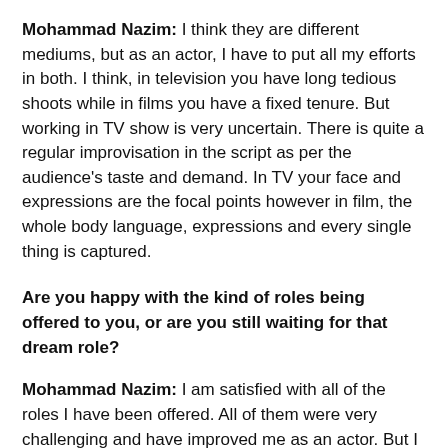Mohammad Nazim: I think they are different mediums, but as an actor, I have to put all my efforts in both. I think, in television you have long tedious shoots while in films you have a fixed tenure. But working in TV show is very uncertain. There is quite a regular improvisation in the script as per the audience's taste and demand. In TV your face and expressions are the focal points however in film, the whole body language, expressions and every single thing is captured.
Are you happy with the kind of roles being offered to you, or are you still waiting for that dream role?
Mohammad Nazim: I am satisfied with all of the roles I have been offered. All of them were very challenging and have improved me as an actor. But I am still waiting to do an action-oriented comic role. (my dream role)
I also believe that...